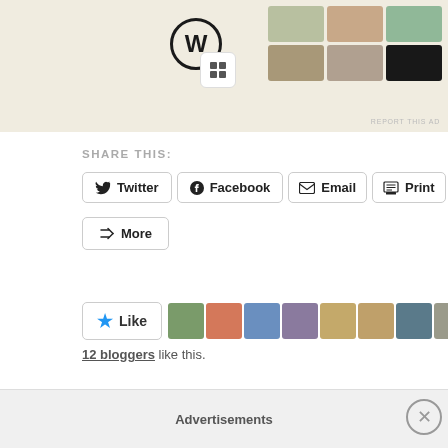[Figure (screenshot): WordPress and food blog advertisement banner with WordPress logo, a square icon, and food photography images on a beige/cream background]
REPORT THIS AD
SHARE THIS:
Twitter
Facebook
Email
Print
More
[Figure (screenshot): Like button with blue star and avatar strip showing 9 blogger profile photos]
12 bloggers like this.
RELATED
A Black Reporter Summarizes Barack Obama!
November 7, 2013
Advertisements